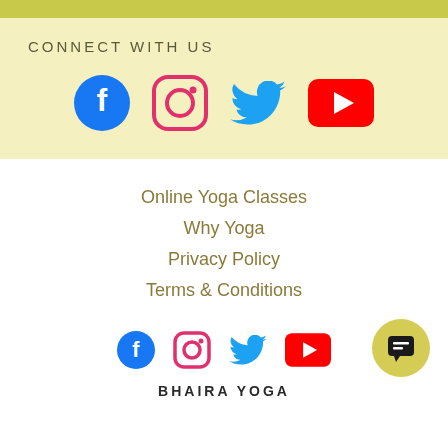CONNECT WITH US
[Figure (infographic): Social media icons: Facebook, Instagram, Twitter, YouTube (large)]
Online Yoga Classes
Why Yoga
Privacy Policy
Terms & Conditions
[Figure (infographic): Social media icons: Facebook, Instagram, Twitter, YouTube (small)]
[Figure (other): Chat bubble button (yellow circle with speech icon)]
BHAIRA YOGA